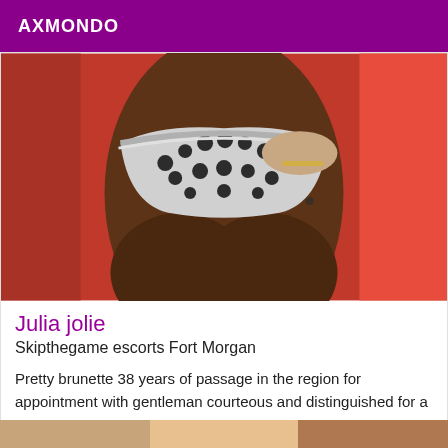AXMONDO
[Figure (photo): Close-up photo of a person's torso wearing a black and white floral lace bikini bottom, with a hand resting on the hip, against a red/orange background.]
Julia jolie
Skipthegame escorts Fort Morgan
Pretty brunette 38 years of passage in the region for appointment with gentleman courteous and distinguished for a pleasant and intense moment in all discretion does not answer mail sms calls masked
[Figure (photo): Partial bottom strip showing another photo thumbnail.]